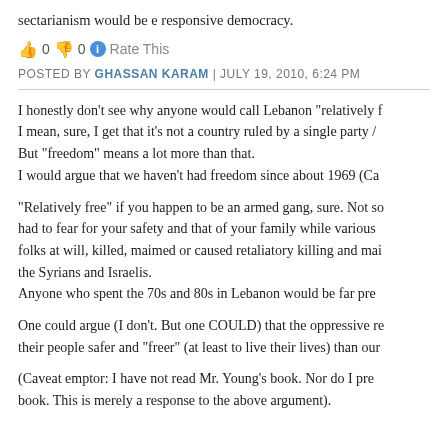sectarianism would be e responsive democracy.
👍 0 👎 0 ℹ Rate This
POSTED BY GHASSAN KARAM | JULY 19, 2010, 6:24 PM
I honestly don't see why anyone would call Lebanon "relatively f... I mean, sure, I get that it's not a country ruled by a single party /... But "freedom" means a lot more than that. I would argue that we haven't had freedom since about 1969 (Ca...
"Relatively free" if you happen to be an armed gang, sure. Not so... had to fear for your safety and that of your family while various... folks at will, killed, maimed or caused retaliatory killing and mai... the Syrians and Israelis. Anyone who spent the 70s and 80s in Lebanon would be far pre...
One could argue (I don't. But one COULD) that the oppressive re... their people safer and "freer" (at least to live their lives) than our...
(Caveat emptor: I have not read Mr. Young's book. Nor do I pre... book. This is merely a response to the above argument).